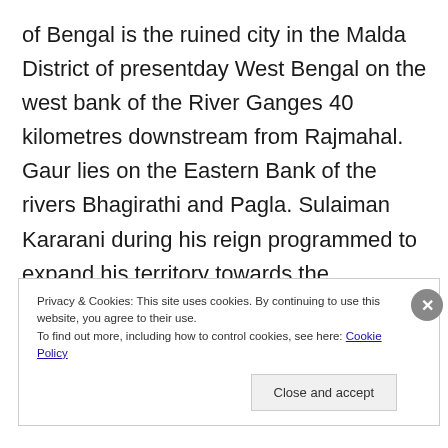of Bengal is the ruined city in the Malda District of presentday West Bengal on the west bank of the River Ganges 40 kilometres downstream from Rajmahal. Gaur lies on the Eastern Bank of the rivers Bhagirathi and Pagla. Sulaiman Kararani during his reign programmed to expand his territory towards the neighboring Koch Kingdom of NarNarayan more than once.
Privacy & Cookies: This site uses cookies. By continuing to use this website, you agree to their use.
To find out more, including how to control cookies, see here: Cookie Policy